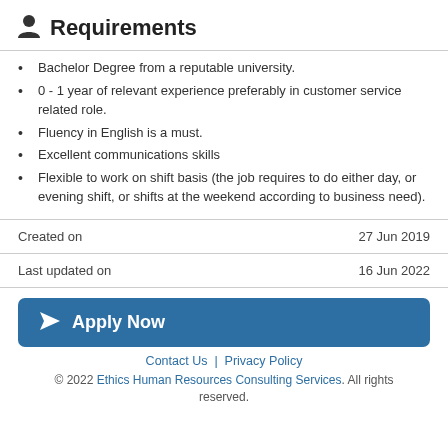Requirements
Bachelor Degree from a reputable university.
0 - 1 year of relevant experience preferably in customer service related role.
Fluency in English is a must.
Excellent communications skills
Flexible to work on shift basis (the job requires to do either day, or evening shift, or shifts at the weekend according to business need).
Created on    27 Jun 2019
Last updated on    16 Jun 2022
Apply Now
Contact Us | Privacy Policy
© 2022 Ethics Human Resources Consulting Services. All rights reserved.